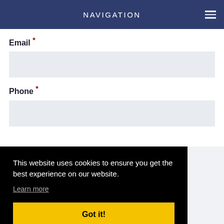NAVIGATION
Email *
Phone *
This website uses cookies to ensure you get the best experience on our website.
Learn more
Got it!
Project Details